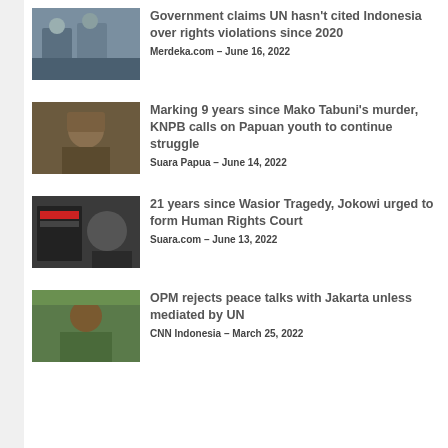[Figure (photo): Photo of people at a conference/meeting table]
Government claims UN hasn't cited Indonesia over rights violations since 2020
Merdeka.com – June 16, 2022
[Figure (photo): Photo of a Papuan man speaking]
Marking 9 years since Mako Tabuni's murder, KNPB calls on Papuan youth to continue struggle
Suara Papua – June 14, 2022
[Figure (photo): Photo of a protester holding a sign]
21 years since Wasior Tragedy, Jokowi urged to form Human Rights Court
Suara.com – June 13, 2022
[Figure (photo): Photo of a man speaking at an event with green background]
OPM rejects peace talks with Jakarta unless mediated by UN
CNN Indonesia – March 25, 2022